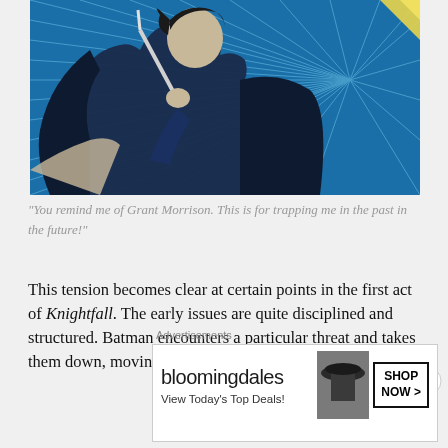[Figure (illustration): Comic book panel showing a dark-costumed figure (Batman) holding a blade, drawn in classic comic style with blue and black tones and action lines radiating from the background.]
"You remind me of Grant Morrison. This is for trapping me in the past in the future!"
This tension becomes clear at certain points in the first act of Knightfall. The early issues are quite disciplined and structured. Batman encounters a particular threat and takes them down, moving on to the next adversary. The
Advertisements
[Figure (other): Bloomingdale's advertisement banner with logo, woman in hat image, and 'SHOP NOW >' button. Text: 'View Today's Top Deals!']